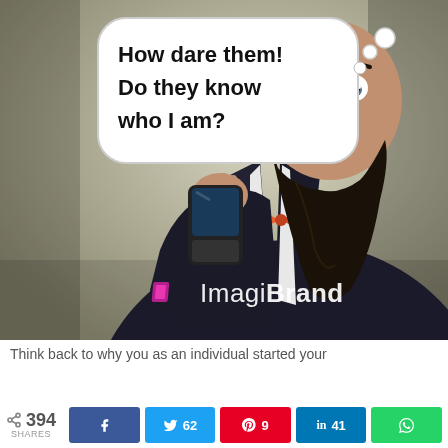[Figure (photo): Meme image: A bearded man in a dark suit and orange bow tie holds a smartphone and looks at it with an expression of outrage. A comic thought bubble reads: 'How dare them! Do they know who I am?' The ImagiBrand logo appears in the lower portion of the image.]
Think back to why you as an individual started your
394 SHARES  [share] [Facebook] [Twitter 62] [Pinterest 9] [LinkedIn 41] [WhatsApp]